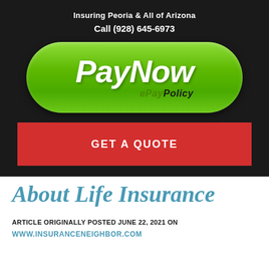Insuring Peoria & All of Arizona
Call (928) 645-6973
[Figure (illustration): Green rounded button with 'PayNow' text in white italic bold font and 'ePayPolicy' sub-label in dark text]
[Figure (illustration): Red rectangular button with 'GET A QUOTE' text in white bold uppercase letters]
About Life Insurance
ARTICLE ORIGINALLY POSTED JUNE 22, 2021 ON
WWW.INSURANCENEIGHBOR.COM